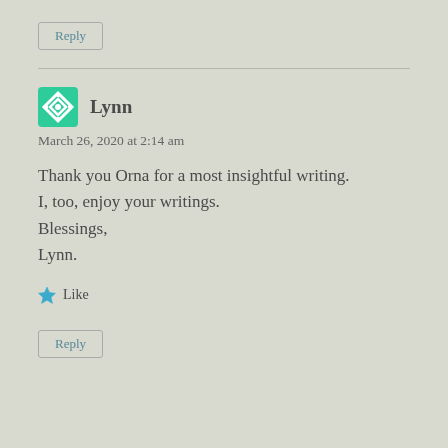Reply
Lynn
March 26, 2020 at 2:14 am
Thank you Orna for a most insightful writing. I, too, enjoy your writings. Blessings, Lynn.
Like
Reply